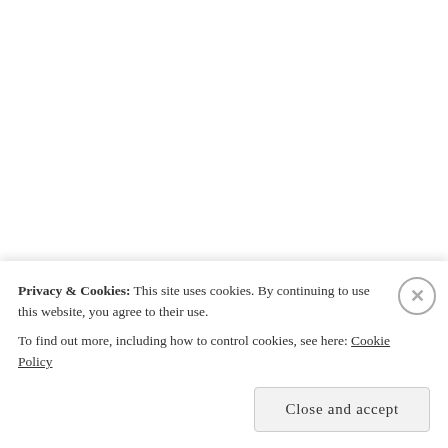SHARE THIS:
[Figure (screenshot): Twitter and Facebook share buttons with rounded rectangle borders and icons]
Loading...
Privacy & Cookies: This site uses cookies. By continuing to use this website, you agree to their use.
To find out more, including how to control cookies, see here: Cookie Policy
Close and accept